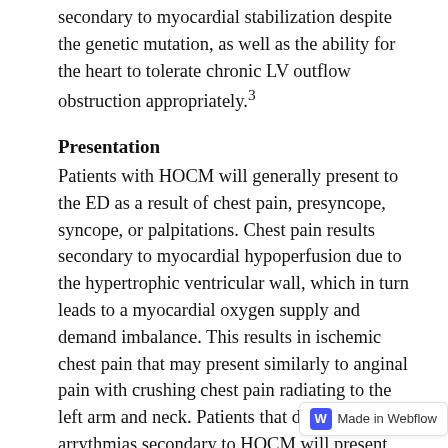secondary to myocardial stabilization despite the genetic mutation, as well as the ability for the heart to tolerate chronic LV outflow obstruction appropriately.3
Presentation
Patients with HOCM will generally present to the ED as a result of chest pain, presyncope, syncope, or palpitations. Chest pain results secondary to myocardial hypoperfusion due to the hypertrophic ventricular wall, which in turn leads to a myocardial oxygen supply and demand imbalance. This results in ischemic chest pain that may present similarly to anginal pain with crushing chest pain radiating to the left arm and neck. Patients that develop arrythmias secondary to HOCM will present with syncope, presyncope, or palpitations. The most common arrythmia produced is recurrent non-sustained ventricular tachycardia. As with the patient presented in this case, atrial fibrillation occurs in 25% of patients with HOCM and LVOT obstruction. It is